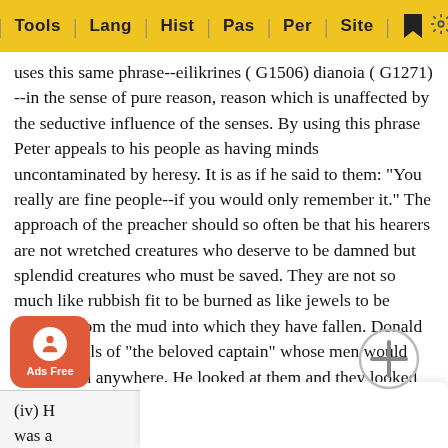Tools | Lang | Hist | Pas | Per | Site
uses this same phrase--eilikrines ( G1506) dianoia ( G1271) --in the sense of pure reason, reason which is unaffected by the seductive influence of the senses. By using this phrase Peter appeals to his people as having minds uncontaminated by heresy. It is as if he said to them: "You really are fine people--if you would only remember it." The approach of the preacher should so often be that his hearers are not wretched creatures who deserve to be damned but splendid creatures who must be saved. They are not so much like rubbish fit to be burned as like jewels to be rescued from the mud into which they have fallen. Donald Hankey tells of "the beloved captain" whose men would follow him anywhere. He looked at them and they looked at him, and they were filled with the determination to be what he believed them to be. We always get further with people when we believe in them than when we despise them.
(iv) H[...] ere was a[...] tred